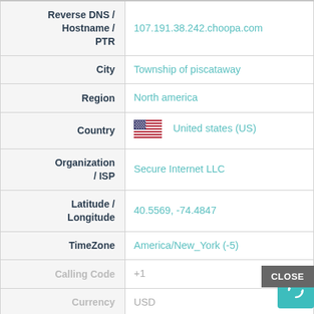| Field | Value |
| --- | --- |
| Reverse DNS / Hostname / PTR | 107.191.38.242.choopa.com |
| City | Township of piscataway |
| Region | North america |
| Country | United states (US) |
| Organization / ISP | Secure Internet LLC |
| Latitude / Longitude | 40.5569, -74.4847 |
| TimeZone | America/New_York (-5) |
| Calling Code | +1 |
| Currency | USD |